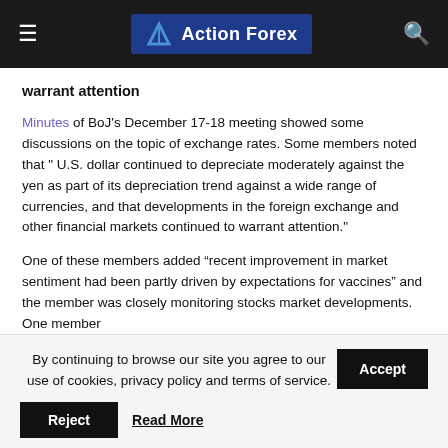Action Forex
warrant attention
Minutes of BoJ's December 17-18 meeting showed some discussions on the topic of exchange rates. Some members noted that " U.S. dollar continued to depreciate moderately against the yen as part of its depreciation trend against a wide range of currencies, and that developments in the foreign exchange and other financial markets continued to warrant attention."
One of these members added “recent improvement in market sentiment had been partly driven by expectations for vaccines” and the member was closely monitoring stocks market developments. One member
By continuing to browse our site you agree to our use of cookies, privacy policy and terms of service.